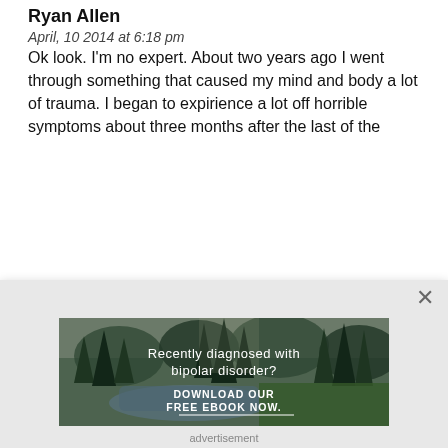Ryan Allen
April, 10 2014 at 6:18 pm
Ok look. I'm no expert. About two years ago I went through something that caused my mind and body a lot of trauma. I began to expirience a lot off horrible symptoms about three months after the last of the
[Figure (photo): Forest scene with river and trees, showing an advertisement for a free ebook about bipolar disorder diagnosis with text 'Recently diagnosed with bipolar disorder? DOWNLOAD OUR FREE EBOOK NOW.']
advertisement